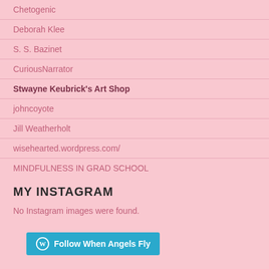Chetogenic
Deborah Klee
S. S. Bazinet
CuriousNarrator
Stwayne Keubrick's Art Shop
johncoyote
Jill Weatherholt
wisehearted.wordpress.com/
MINDFULNESS IN GRAD SCHOOL
MY INSTAGRAM
No Instagram images were found.
Follow When Angels Fly